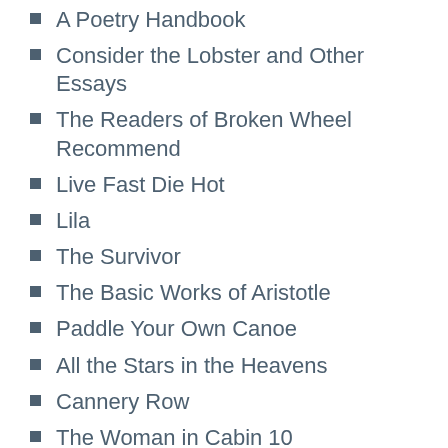A Poetry Handbook
Consider the Lobster and Other Essays
The Readers of Broken Wheel Recommend
Live Fast Die Hot
Lila
The Survivor
The Basic Works of Aristotle
Paddle Your Own Canoe
All the Stars in the Heavens
Cannery Row
The Woman in Cabin 10
The Black Widow
The Elegance of the Hedgehog
Listen to Me
Someday, Someday, Maybe